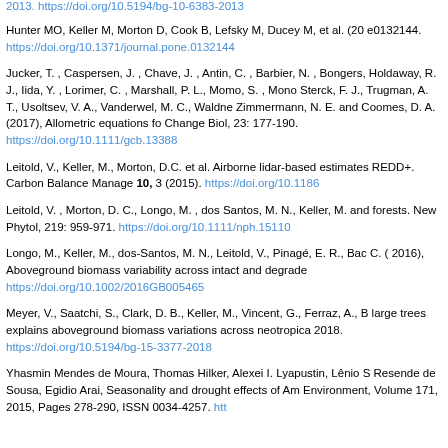2013. https://doi.org/10.5194/bg-10-6383-2013
Hunter MO, Keller M, Morton D, Cook B, Lefsky M, Ducey M, et al. (20... e0132144. https://doi.org/10.1371/journal.pone.0132144
Jucker, T. , Caspersen, J. , Chave, J. , Antin, C. , Barbier, N. , Bongers,... Holdaway, R. J., Iida, Y. , Lorimer, C. , Marshall, P. L., Momo, S. , Mono... Sterck, F. J., Trugman, A. T., Usoltsev, V. A., Vanderwel, M. C., Waldne... Zimmermann, N. E. and Coomes, D. A. (2017), Allometric equations fo... Change Biol, 23: 177-190. https://doi.org/10.1111/gcb.13388
Leitold, V., Keller, M., Morton, D.C. et al. Airborne lidar-based estimates... REDD+. Carbon Balance Manage 10, 3 (2015). https://doi.org/10.1186...
Leitold, V. , Morton, D. C., Longo, M. , dos Santos, M. N., Keller, M. and... forests. New Phytol, 219: 959-971. https://doi.org/10.1111/nph.15110
Longo, M., Keller, M., dos-Santos, M. N., Leitold, V., Pinagé, E. R., Bac... C. ( 2016), Aboveground biomass variability across intact and degrade... https://doi.org/10.1002/2016GB005465
Meyer, V., Saatchi, S., Clark, D. B., Keller, M., Vincent, G., Ferraz, A., B... large trees explains aboveground biomass variations across neotropica... 2018. https://doi.org/10.5194/bg-15-3377-2018
Yhasmin Mendes de Moura, Thomas Hilker, Alexei I. Lyapustin, Lênio S... Resende de Sousa, Egidio Arai, Seasonality and drought effects of Am... Environment, Volume 171, 2015, Pages 278-290, ISSN 0034-4257. htt...